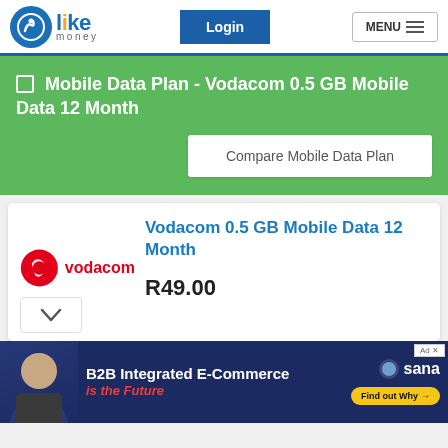LikeMoney - Login - MENU
Mobile Data Plan - Vodacom 0.5 GB Mobile Data 12 Month
Compare Mobile Data Plan
Vodacom 0.5 GB Mobile Data 12 Month
R49.00
[Figure (logo): Vodacom logo with red circle and brand name]
[Figure (infographic): B2B Integrated E-Commerce is the Future - Sana advertisement banner]